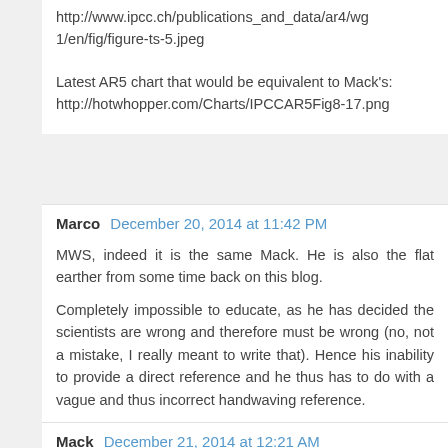http://www.ipcc.ch/publications_and_data/ar4/wg1/en/fig/figure-ts-5.jpeg
Latest AR5 chart that would be equivalent to Mack's:
http://hotwhopper.com/Charts/IPCCAR5Fig8-17.png
Marco  December 20, 2014 at 11:42 PM
MWS, indeed it is the same Mack. He is also the flat earther from some time back on this blog.
Completely impossible to educate, as he has decided the scientists are wrong and therefore must be wrong (no, not a mistake, I really meant to write that). Hence his inability to provide a direct reference and he thus has to do with a vague and thus incorrect handwaving reference.
Mack  December 21, 2014 at 12:21 AM